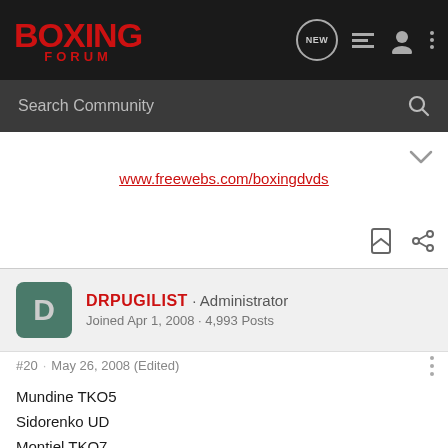BOXING FORUM
Search Community
www.freewebs.com/boxingdvds
DRPUGILIST · Administrator
Joined Apr 1, 2008 · 4,993 Posts
#20 · May 26, 2008 (Edited)
Mundine TKO5
Sidorenko UD
Montiel TKO7